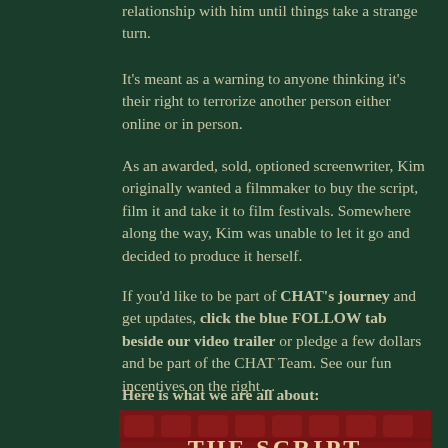relationship with him until things take a strange turn.
It’s meant as a warning to anyone thinking it’s their right to terrorize another person either online or in person.
As an awarded, sold, optioned screenwriter, Kim originally wanted a filmmaker to buy the script, film it and take it to film festivals. Somewhere along the way, Kim was unable to let it go and decided to produce it herself.
If you’d like to be part of CHAT’s journey and get updates, click the blue FOLLOW tab beside our video trailer or pledge a few dollars and be part of the CHAT Team. See our fun incentives on the right…
Here is what we are all about:
[Figure (photo): Theater seats in red velvet with 'THE SCRIPT' text overlaid in large serif font]